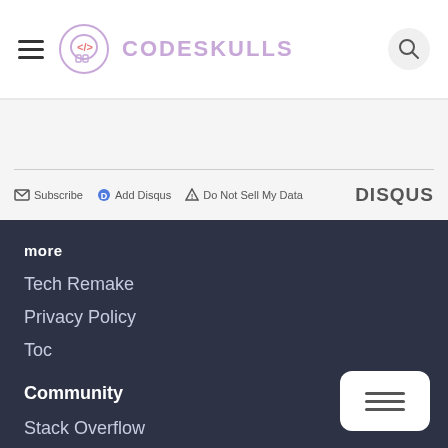CODESKULLS
Subscribe  Add Disqus  Do Not Sell My Data  DISQUS
more
Tech Remake
Privacy Policy
Toc
Community
Stack Overflow